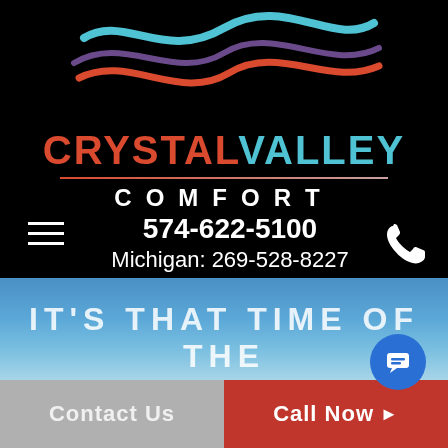[Figure (logo): Crystal Valley Comfort logo with stylized blue, red and dark swoosh waves above the company name. CRYSTAL in red, VALLEY in cyan/blue, COMFORT in white spaced letters on black background.]
574-622-5100
Michigan: 269-528-8227
[Figure (photo): Blue sky hero image with partial text 'IT'S THAT TIME OF THE' at the bottom]
Contact Us
Call Now